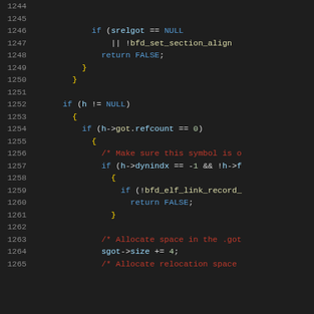[Figure (screenshot): Source code listing in a dark-themed code editor showing C code lines 1244-1265, with syntax highlighting. Keywords in blue, identifiers in light blue, comments in red, numbers in green, punctuation in gold/white.]